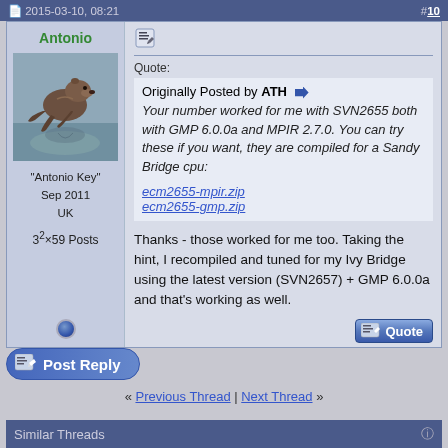2015-03-10, 08:21  #10
Antonio
[Figure (photo): Avatar photo of an otter jumping/running on water with reflection visible]
"Antonio Key"
Sep 2011
UK
3²×59 Posts
Quote:
Originally Posted by ATH
Your number worked for me with SVN2655 both with GMP 6.0.0a and MPIR 2.7.0. You can try these if you want, they are compiled for a Sandy Bridge cpu:
ecm2655-mpir.zip
ecm2655-gmp.zip
Thanks - those worked for me too. Taking the hint, I recompiled and tuned for my Ivy Bridge using the latest version (SVN2657) + GMP 6.0.0a and that's working as well.
Post Reply
« Previous Thread | Next Thread »
Similar Threads